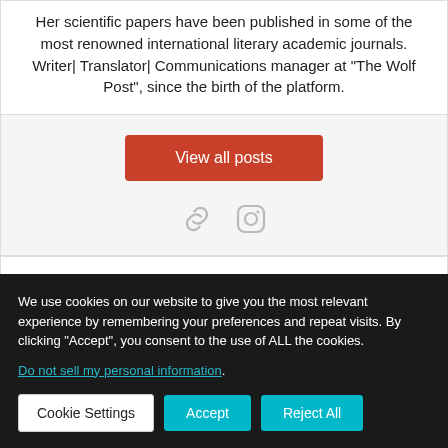Her scientific papers have been published in some of the most renowned international literary academic journals. Writer| Translator| Communications manager at "The Wolf Post", since the birth of the platform.
View all posts
[Figure (other): Link icon and Instagram icon social media icons in grey]
You may also like
We use cookies on our website to give you the most relevant experience by remembering your preferences and repeat visits. By clicking “Accept”, you consent to the use of ALL the cookies.
Do not sell my personal information.
Cookie Settings   Accept   Reject All